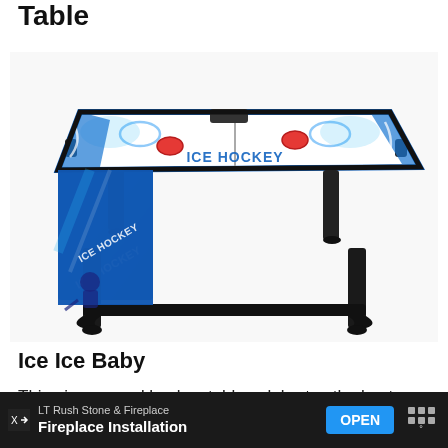Table
[Figure (photo): An air hockey table with 'ICE HOCKEY' branding, black frame and legs, blue and white graphics, with red pucks and paddles on the surface.]
Ice Ice Baby
This air-powered hockey table celebrates the best
[Figure (screenshot): Advertisement banner for LT Rush Stone & Fireplace - Fireplace Installation, with an OPEN button in blue.]